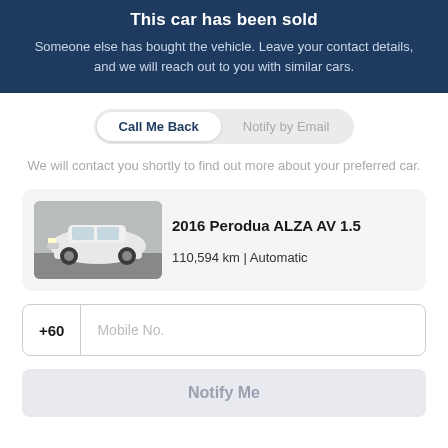This car has been sold
Someone else has bought the vehicle. Leave your contact details, and we will reach out to you with similar cars.
Call Me Back | Notify by Email
We will contact you shortly to find out more about your preferred car.
2016 Perodua ALZA AV 1.5
110,594 km | Automatic
+60  Mobile No.
Notify Me